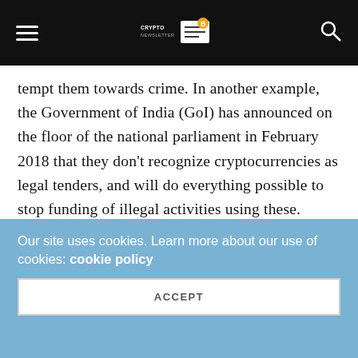[Navigation bar: hamburger menu, Crypto Newsletter logo, search icon]
tempt them towards crime. In another example, the Government of India (GoI) has announced on the floor of the national parliament in February 2018 that they don't recognize cryptocurrencies as legal tenders, and will do everything possible to stop funding of illegal activities using these.
The incident may bring spotlight back on security of cryptocurrencies, however, it's clear that this was a case of an individual having the required authority to operate his employer's crypto trading
Our site uses cookies. Learn more about our use of cookies: cookie policy
ACCEPT